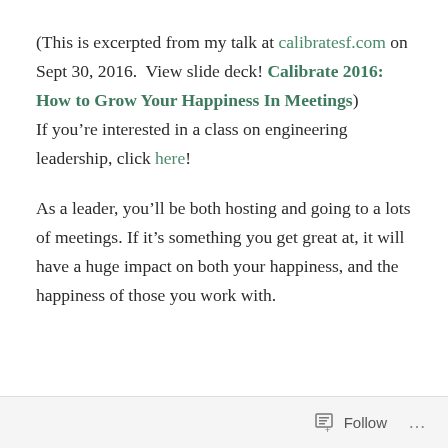(This is excerpted from my talk at calibratesf.com on Sept 30, 2016.  View slide deck! Calibrate 2016: How to Grow Your Happiness In Meetings) If you're interested in a class on engineering leadership, click here!
As a leader, you'll be both hosting and going to a lots of meetings. If it's something you get great at, it will have a huge impact on both your happiness, and the happiness of those you work with.
Follow ...